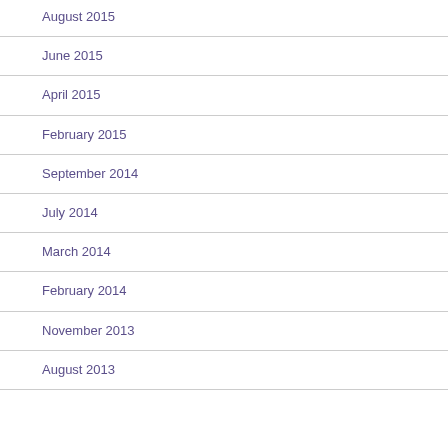August 2015
June 2015
April 2015
February 2015
September 2014
July 2014
March 2014
February 2014
November 2013
August 2013